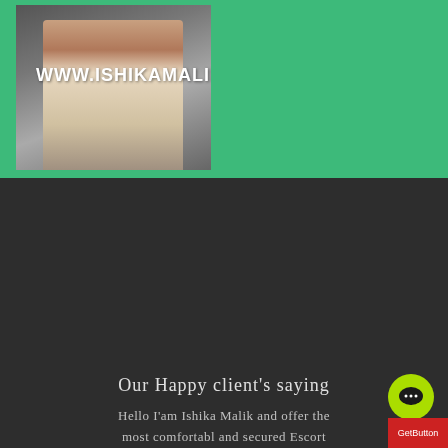[Figure (photo): Photo of a young woman sitting, with watermark text WWW.ISHIKAMALIK.IN overlaid on a green background]
Our Happy client's saying
Hello I'am Ishika Malik and offer the most comfortabl and secured Escort ...
[Figure (photo): Photo of a man in a light blue shirt and dark tie against white background]
Owsome Escort Service In Jaunpur, The Rate Is Good And but Jaunpur escort girl was good. We will be coming soon As Posible Ishika Malik. "